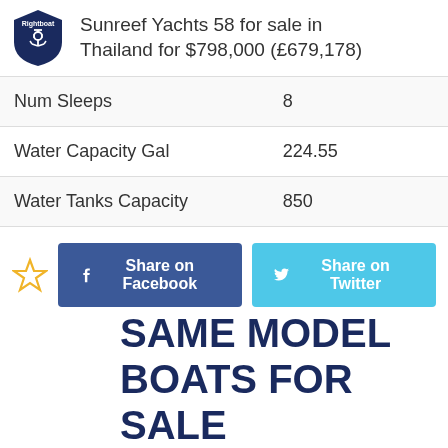Sunreef Yachts 58 for sale in Thailand for $798,000 (£679,178)
| Num Sleeps | 8 |
| Water Capacity Gal | 224.55 |
| Water Tanks Capacity | 850 |
Share on Facebook | Share on Twitter | Email
SAME MODEL BOATS FOR SALE